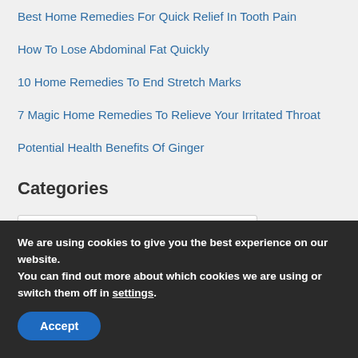Best Home Remedies For Quick Relief In Tooth Pain
How To Lose Abdominal Fat Quickly
10 Home Remedies To End Stretch Marks
7 Magic Home Remedies To Relieve Your Irritated Throat
Potential Health Benefits Of Ginger
Categories
Select Category
We are using cookies to give you the best experience on our website.
You can find out more about which cookies we are using or switch them off in settings.
Accept